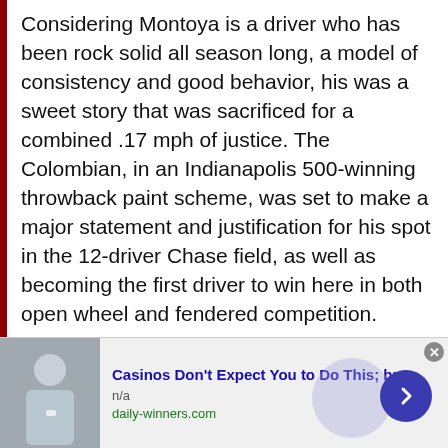Considering Montoya is a driver who has been rock solid all season long, a model of consistency and good behavior, his was a sweet story that was sacrificed for a combined .17 mph of justice. The Colombian, in an Indianapolis 500-winning throwback paint scheme, was set to make a major statement and justification for his spot in the 12-driver Chase field, as well as becoming the first driver to win here in both open wheel and fendered competition.

Instead, after leading 116 laps, he was left only with the sick satisfaction of knowing what likely would have been. You can say it
[Figure (other): Advertisement banner: image of a person on the left, ad title 'Casinos Don't Expect You to Do This; but', source 'daily-winners.com', with a close button and navigation arrow]